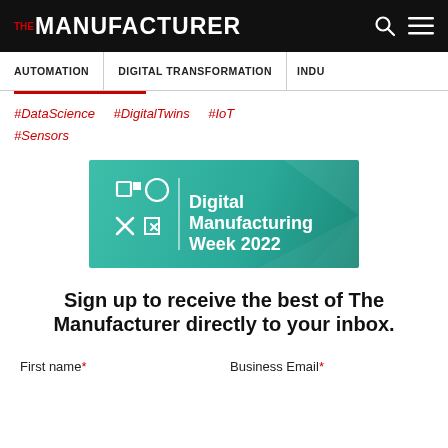THE MANUFACTURER
AUTOMATION | DIGITAL TRANSFORMATION | INDU
#DataScience
#DigitalTwins
#IoT
#Sensors
[Figure (logo): Digital Manufacturing Week 2022 banner with teal/green gradient background and geometric icons]
Sign up to receive the best of The Manufacturer directly to your inbox.
First name*    Business Email*